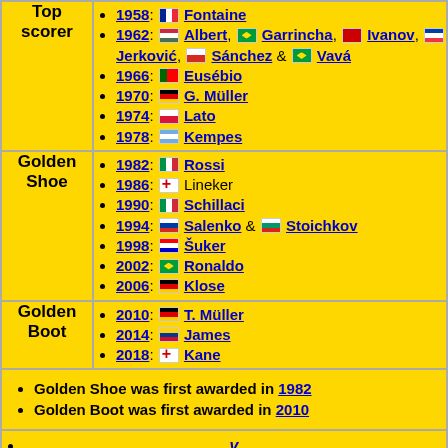Top scorer - 1958: Fontaine
1962: Albert, Garrincha, Ivanov, Jerkovic, Sanchez & Vava
1966: Eusebio
1970: G. Muller
1974: Lato
1978: Kempes
Golden Shoe - 1982: Rossi
1986: Lineker
1990: Schillaci
1994: Salenko & Stoichkov
1998: Suker
2002: Ronaldo
2006: Klose
Golden Boot - 2010: T. Muller
2014: James
2018: Kane
Golden Shoe was first awarded in 1982
Golden Boot was first awarded in 2010
v
t